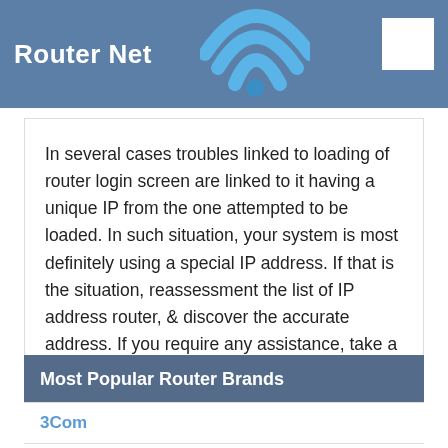Router Net
In several cases troubles linked to loading of router login screen are linked to it having a unique IP from the one attempted to be loaded. In such situation, your system is most definitely using a special IP address. If that is the situation, reassessment the list of IP address router, & discover the accurate address. If you require any assistance, take a look at our tutorial on how to discover the router’s IP address.
Most Popular Router Brands
3Com
3 1Tech